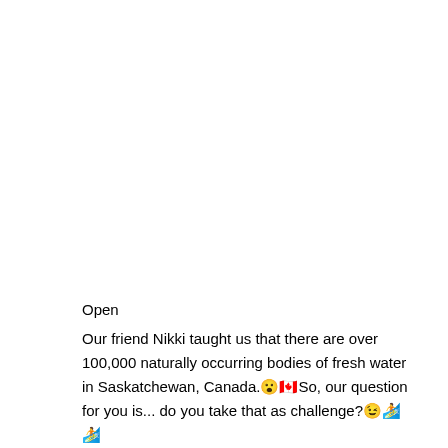Open
Our friend Nikki taught us that there are over 100,000 naturally occurring bodies of fresh water in Saskatchewan, Canada.😮🍁So, our question for you is... do you take that as challenge?😉🏄 🏄
Saskatchewan, Canada 📷 nikkisups  #ThursoSurf